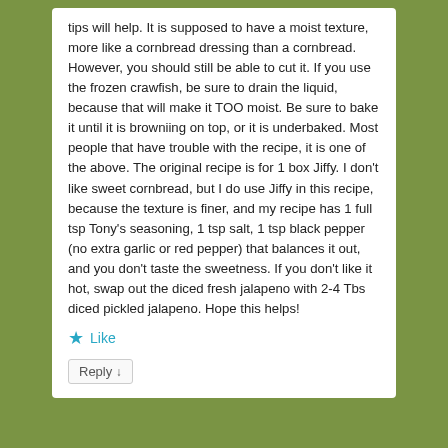tips will help. It is supposed to have a moist texture, more like a cornbread dressing than a cornbread. However, you should still be able to cut it. If you use the frozen crawfish, be sure to drain the liquid, because that will make it TOO moist. Be sure to bake it until it is browniing on top, or it is underbaked. Most people that have trouble with the recipe, it is one of the above. The original recipe is for 1 box Jiffy. I don't like sweet cornbread, but I do use Jiffy in this recipe, because the texture is finer, and my recipe has 1 full tsp Tony's seasoning, 1 tsp salt, 1 tsp black pepper (no extra garlic or red pepper) that balances it out, and you don't taste the sweetness. If you don't like it hot, swap out the diced fresh jalapeno with 2-4 Tbs diced pickled jalapeno. Hope this helps!
Like
Reply